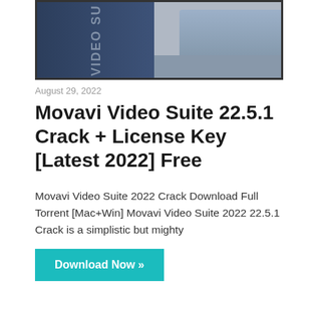[Figure (screenshot): Thumbnail image of Movavi Video Suite software with a dark blue panel on the left showing 'VIDEO SUITE' text and a photograph of a person on a boat on the right.]
August 29, 2022
Movavi Video Suite 22.5.1 Crack + License Key [Latest 2022] Free
Movavi Video Suite 2022 Crack Download Full Torrent [Mac+Win] Movavi Video Suite 2022 22.5.1 Crack is a simplistic but mighty
Download Now »